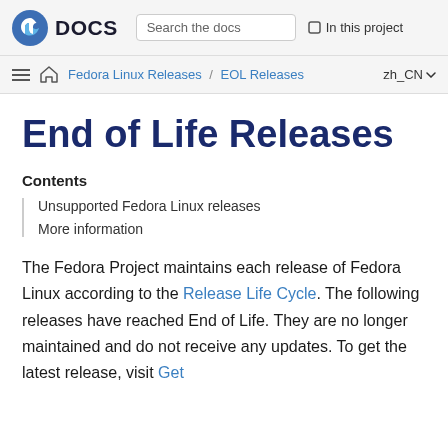Fedora DOCS — Search the docs — In this project
Fedora Linux Releases / EOL Releases — zh_CN
End of Life Releases
Contents
Unsupported Fedora Linux releases
More information
The Fedora Project maintains each release of Fedora Linux according to the Release Life Cycle. The following releases have reached End of Life. They are no longer maintained and do not receive any updates. To get the latest release, visit Get